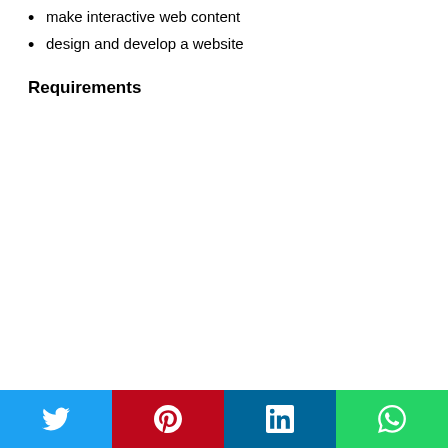make interactive web content
design and develop a website
Requirements
[Figure (other): Social media sharing bar with Twitter, Pinterest, LinkedIn, and WhatsApp buttons]